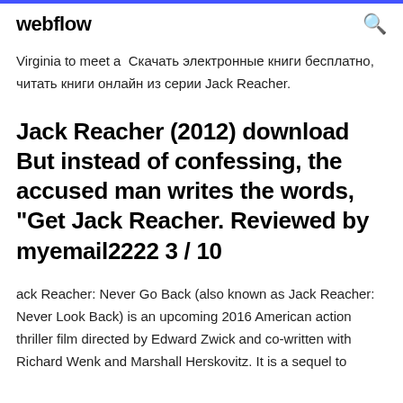webflow
Virginia to meet a  Скачать электронные книги бесплатно, читать книги онлайн из серии Jack Reacher.
Jack Reacher (2012) download But instead of confessing, the accused man writes the words, "Get Jack Reacher. Reviewed by myemail2222 3 / 10
ack Reacher: Never Go Back (also known as Jack Reacher: Never Look Back) is an upcoming 2016 American action thriller film directed by Edward Zwick and co-written with Richard Wenk and Marshall Herskovitz. It is a sequel to